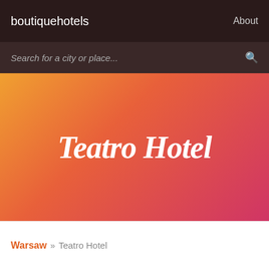boutiquehotels   About
Search for a city or place...
Teatro Hotel
Warsaw » Teatro Hotel